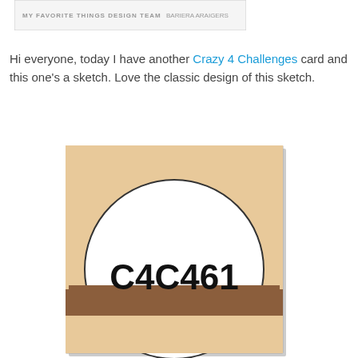[Figure (other): Partial view of a card design template header with text 'MY FAVORITE THINGS DESIGN TEAM' and 'BARIERA ARAIGERS' on a light gray/white background with border]
Hi everyone, today I have another Crazy 4 Challenges card and this one's a sketch. Love the classic design of this sketch.
[Figure (illustration): Card sketch design showing a tan/beige rectangular card layout with a large white circle containing bold text 'C4C461', a brown horizontal band crossing the middle, and a partial circle in the lower portion on a tan background]